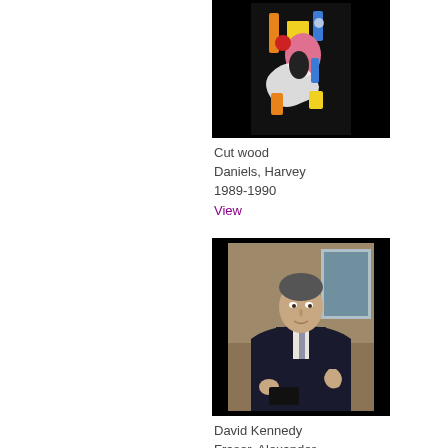[Figure (photo): Abstract colorful cut wood artwork on black background — geometric and organic shapes in blue, orange, yellow, red, pink, and white on a dark background]
Cut wood
Daniels, Harvey
1989-1990
View
[Figure (photo): Portrait painting of David Kennedy, a man in academic robes seated, on a brown/tan background with a landscape visible behind him]
David Kennedy
Fraser, Alexander
1998
View